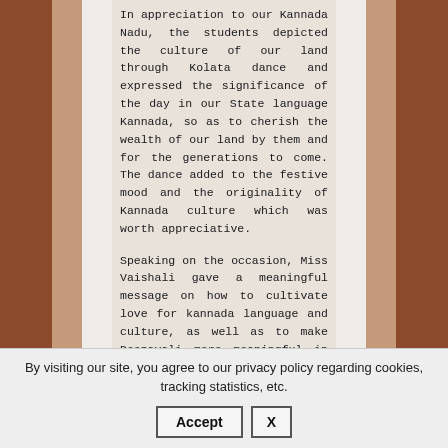In appreciation to our Kannada Nadu, the students depicted the culture of our land through Kolata dance and expressed the significance of the day in our State language Kannada, so as to cherish the wealth of our land by them and for the generations to come. The dance added to the festive mood and the originality of Kannada culture which was worth appreciative.
Speaking on the occasion, Miss Vaishali gave a meaningful message on how to cultivate love for kannada language and culture, as well as to make Deepavali more meaningful in our day to day life. The vice-principal Sr. Snehal
By visiting our site, you agree to our privacy policy regarding cookies, tracking statistics, etc.